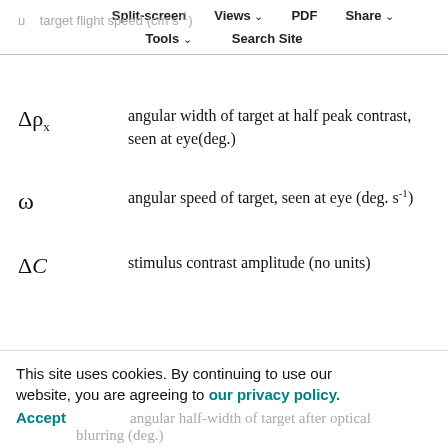u   target flight speed (cm s⁻¹)  Split-screen  Views  PDF  Share  Tools  Search Site
This site uses cookies. By continuing to use our website, you are agreeing to our privacy policy. Accept  angular half-width of target after optical blurring (deg.)